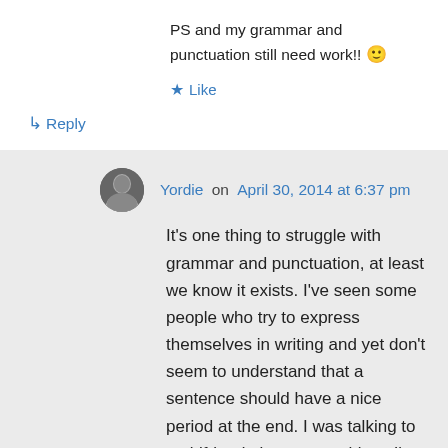PS and my grammar and punctuation still need work!! 🙂
★ Like
↳ Reply
Yordie on April 30, 2014 at 6:37 pm
It's one thing to struggle with grammar and punctuation, at least we know it exists. I've seen some people who try to express themselves in writing and yet don't seem to understand that a sentence should have a nice period at the end. I was talking to a girlfriend about some things I've seen where sentences run into sentence